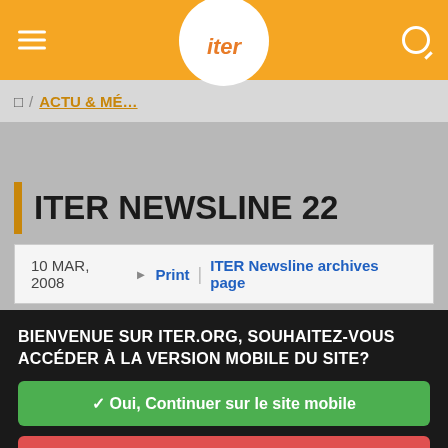iter
🏠 / ACTU & MÉ…
ITER NEWSLINE 22
10 MAR, 2008 | Print | ITER Newsline archives page
BIENVENUE SUR ITER.ORG, SOUHAITEZ-VOUS ACCÉDER À LA VERSION MOBILE DU SITE?
✓ Oui, Continuer sur le site mobile
✗ Non, rester sur la version classique